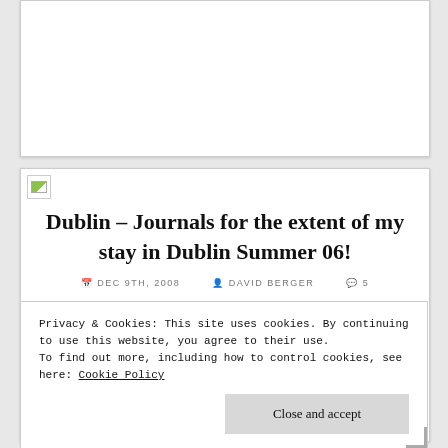[Figure (photo): White card with broken image placeholder icon in top-left corner]
[Figure (photo): Blog post card with broken image placeholder icon in top-left corner]
Dublin – Journals for the extent of my stay in Dublin Summer 06!
DEC 9TH, 2008  DAVID BERGER  5
Privacy & Cookies: This site uses cookies. By continuing to use this website, you agree to their use. To find out more, including how to control cookies, see here: Cookie Policy
Close and accept
explore. Within an hour of landing